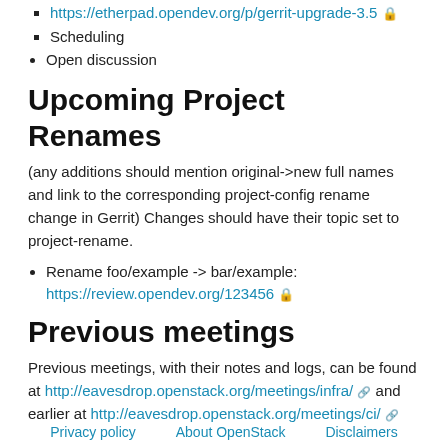https://etherpad.opendev.org/p/gerrit-upgrade-3.5 🔒
Scheduling
Open discussion
Upcoming Project Renames
(any additions should mention original->new full names and link to the corresponding project-config rename change in Gerrit) Changes should have their topic set to project-rename.
Rename foo/example -> bar/example: https://review.opendev.org/123456 🔒
Previous meetings
Previous meetings, with their notes and logs, can be found at http://eavesdrop.openstack.org/meetings/infra/ and earlier at http://eavesdrop.openstack.org/meetings/ci/
Privacy policy   About OpenStack   Disclaimers